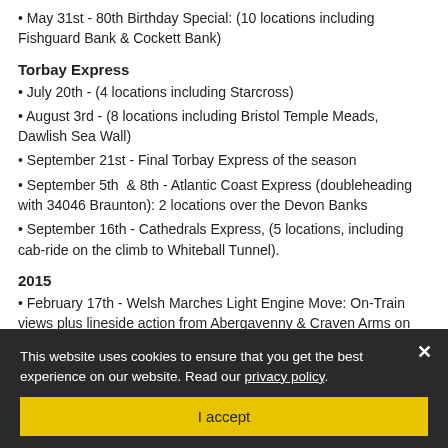• May 31st - 80th Birthday Special: (10 locations including Fishguard Bank & Cockett Bank)
Torbay Express
• July 20th - (4 locations including Starcross)
• August 3rd - (8 locations including Bristol Temple Meads, Dawlish Sea Wall)
• September 21st - Final Torbay Express of the season
• September 5th & 8th - Atlantic Coast Express (doubleheading with 34046 Braunton): 2 locations over the Devon Banks
• September 16th - Cathedrals Express, (5 locations, including cab-ride on the climb to Whiteball Tunnel).
2015
• February 17th - Welsh Marches Light Engine Move: On-Train views plus lineside action from Abergavenny & Craven Arms on the locomotive's final [obscured by cookie banner]
Produced by - OVP Steam [partially obscured]
Duration - 120 min[utes — partially obscured]
DVD and Blu-ray [partially obscured]
Released - September 2021